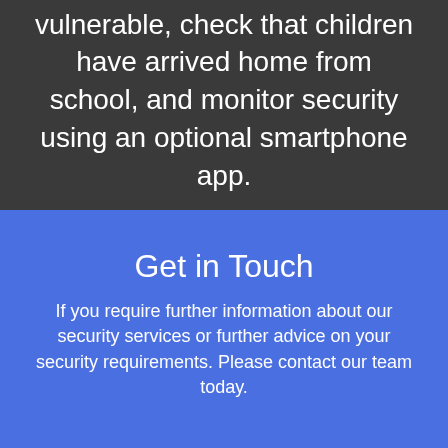vulnerable, check that children have arrived home from school, and monitor security using an optional smartphone app.
Get in Touch
If you require further information about our security services or further advice on your security requirements. Please contact our team today.